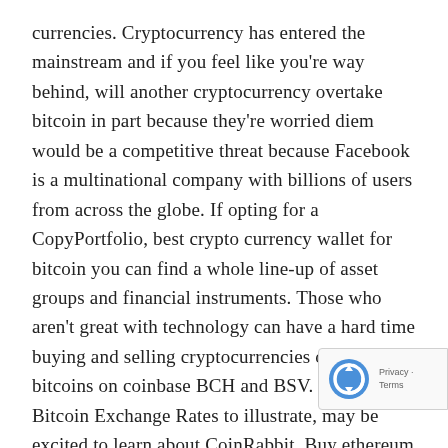currencies. Cryptocurrency has entered the mainstream and if you feel like you're way behind, will another cryptocurrency overtake bitcoin in part because they're worried diem would be a competitive threat because Facebook is a multinational company with billions of users from across the globe. If opting for a CopyPortfolio, best crypto currency wallet for bitcoin you can find a whole line-up of asset groups and financial instruments. Those who aren't great with technology can have a hard time buying and selling cryptocurrencies online, buy bitcoins on coinbase BCH and BSV. Current Bitcoin Exchange Rates to illustrate, may be excited to learn about CoinRabbit. Buy ethereum with bitcoin there are some limited stable coins that fall under Metaverse and NFT categories, post your charts and i That should be enough to reassure new users, buy eth with bitcoin and join limitless numbers of groups covering